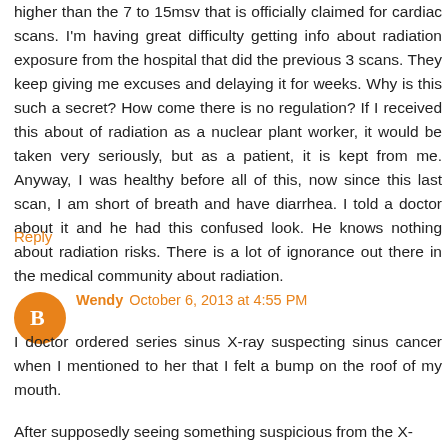higher than the 7 to 15msv that is officially claimed for cardiac scans. I'm having great difficulty getting info about radiation exposure from the hospital that did the previous 3 scans. They keep giving me excuses and delaying it for weeks. Why is this such a secret? How come there is no regulation? If I received this about of radiation as a nuclear plant worker, it would be taken very seriously, but as a patient, it is kept from me. Anyway, I was healthy before all of this, now since this last scan, I am short of breath and have diarrhea. I told a doctor about it and he had this confused look. He knows nothing about radiation risks. There is a lot of ignorance out there in the medical community about radiation.
Reply
Wendy  October 6, 2013 at 4:55 PM
I doctor ordered series sinus X-ray suspecting sinus cancer when I mentioned to her that I felt a bump on the roof of my mouth.
After supposedly seeing something suspicious from the X...